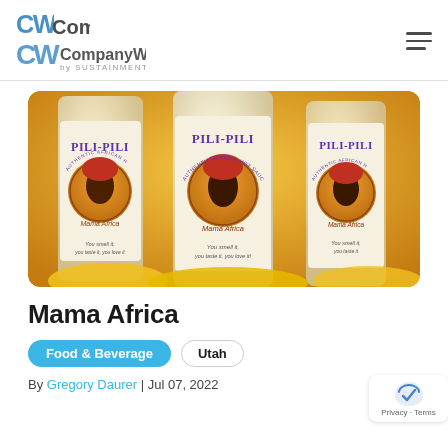CompanyWeek by SUSTAINMENT
[Figure (photo): Three bottles of Pili-Pili Authentic African Hot Sauce by Mama Africa, with yellow peppers in the foreground. Labels show a woman in a red headwrap and the text 'You smell it, you taste it, you love it.']
Mama Africa
Food & Beverage | Utah
By Gregory Daurer | Jul 07, 2022